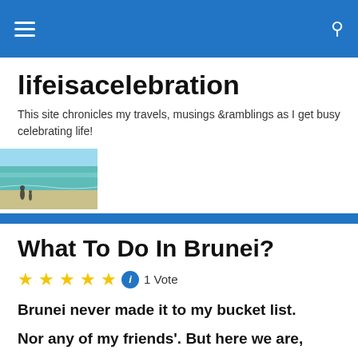lifeisacelebration — navigation bar
lifeisacelebration
This site chronicles my travels, musings &ramblings as I get busy celebrating life!
[Figure (photo): Beach scene with turquoise water and two people standing on the shoreline]
What To Do In Brunei?
1 Vote
Brunei never made it to my bucket list.
Nor any of my friends'. But here we are,